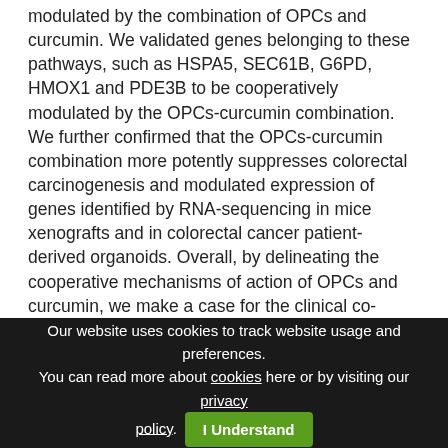modulated by the combination of OPCs and curcumin. We validated genes belonging to these pathways, such as HSPA5, SEC61B, G6PD, HMOX1 and PDE3B to be cooperatively modulated by the OPCs-curcumin combination. We further confirmed that the OPCs-curcumin combination more potently suppresses colorectal carcinogenesis and modulated expression of genes identified by RNA-sequencing in mice xenografts and in colorectal cancer patient-derived organoids. Overall, by delineating the cooperative mechanisms of action of OPCs and curcumin, we make a case for the clinical co-administration of curcumin and OPCs as a treatment therapy for patients with colorectal cancer. [Ravindranathan P, et al. A combination of curcumin and oligomeric proanthocyanidins offer superior anti-
Our website uses cookies to track website usage and preferences. You can read more about cookies here or by visiting our privacy policy.  I Understand